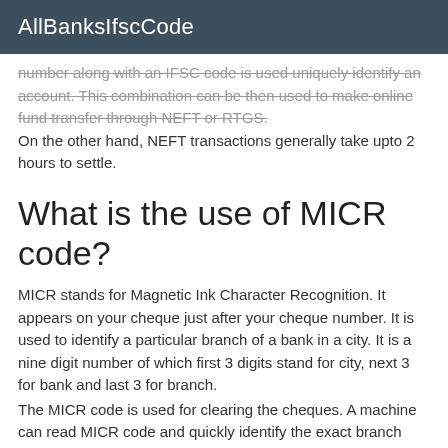AllBanksIfscCode
number along with an IFSC code is used uniquely identify an account. This combination can be then used to make online fund transfer through NEFT or RTGS.
On the other hand, NEFT transactions generally take upto 2 hours to settle.
What is the use of MICR code?
MICR stands for Magnetic Ink Character Recognition. It appears on your cheque just after your cheque number. It is used to identify a particular branch of a bank in a city. It is a nine digit number of which first 3 digits stand for city, next 3 for bank and last 3 for branch.
The MICR code is used for clearing the cheques. A machine can read MICR code and quickly identify the exact branch where the account of the cheque issuers is held.
What is the time of Neft?